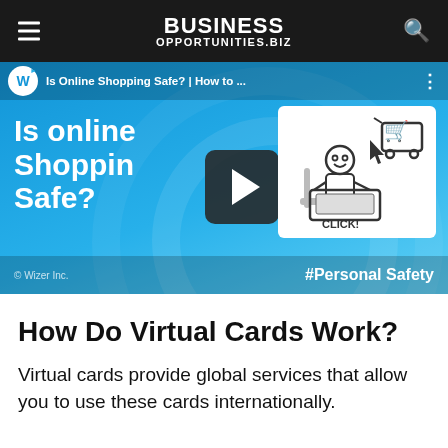BUSINESS OPPORTUNITIES.BIZ
[Figure (screenshot): YouTube video thumbnail for 'Is Online Shopping Safe? | How to...' with Wizer Inc. branding. Blue background with white bold text 'Is online Shopping Safe?' and a cartoon illustration of a person clicking on a laptop with a shopping cart icon. Play button in center. #Personal Safety hashtag at bottom right.]
How Do Virtual Cards Work?
Virtual cards provide global services that allow you to use these cards internationally.